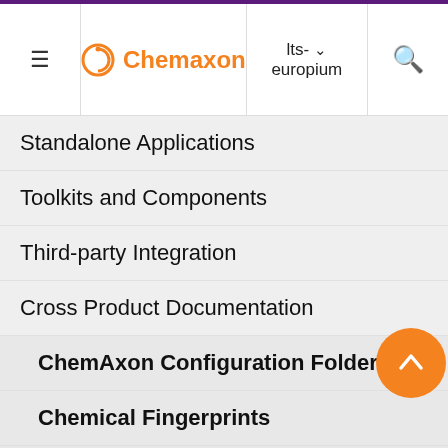Chemaxon | lts-europium
Standalone Applications
Toolkits and Components
Third-party Integration
Cross Product Documentation
ChemAxon Configuration Folder
Chemical Fingerprints
Chemical Terms
File Formats
Input and Output System
forma cxsmi Enham sterec repres introdu three types of identif at n be